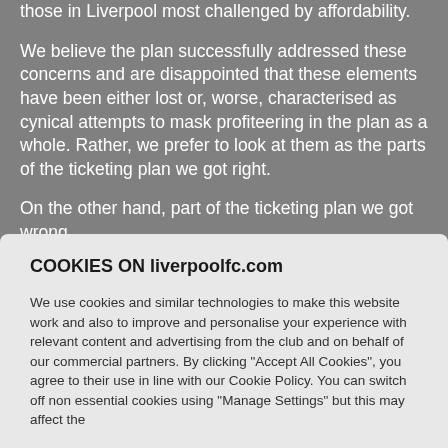those in Liverpool most challenged by affordability.
We believe the plan successfully addressed these concerns and are disappointed that these elements have been either lost or, worse, characterised as cynical attempts to mask profiteering in the plan as a whole. Rather, we prefer to look at them as the parts of the ticketing plan we got right.
On the other hand, part of the ticketing plan we got wrong.
In addition to the other elements of the plan we proposed price increases on a number of tickets. These pricing actions generated growth in general admission ticketing
COOKIES ON liverpoolfc.com
We use cookies and similar technologies to make this website work and also to improve and personalise your experience with relevant content and advertising from the club and on behalf of our commercial partners. By clicking "Accept All Cookies", you agree to their use in line with our Cookie Policy. You can switch off non essential cookies using "Manage Settings" but this may affect the